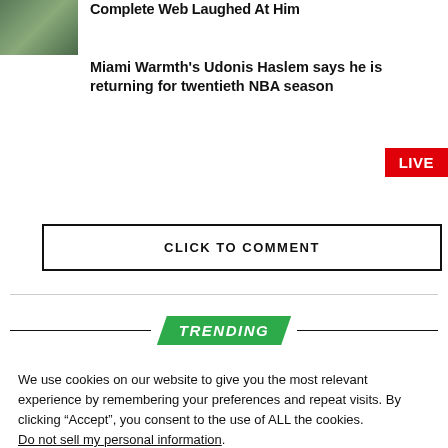[Figure (photo): Thumbnail photo of a person, partially visible]
Complete Web Laughed At Him
Miami Warmth's Udonis Haslem says he is returning for twentieth NBA season
LIVE
CLICK TO COMMENT
TRENDING
We use cookies on our website to give you the most relevant experience by remembering your preferences and repeat visits. By clicking “Accept”, you consent to the use of ALL the cookies.
Do not sell my personal information.
Cookie Settings
Accept